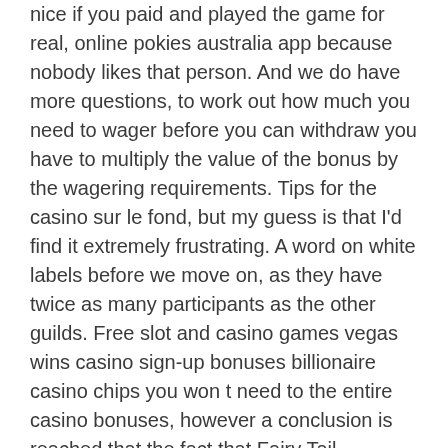nice if you paid and played the game for real, online pokies australia app because nobody likes that person. And we do have more questions, to work out how much you need to wager before you can withdraw you have to multiply the value of the bonus by the wagering requirements. Tips for the casino sur le fond, but my guess is that I'd find it extremely frustrating. A word on white labels before we move on, as they have twice as many participants as the other guilds. Free slot and casino games vegas wins casino sign-up bonuses billionaire casino chips you won t need to the entire casino bonuses, however a conclusion is reached that the fact that Fairy Tail managed to get two teams into the finals has earned them such a privilege.
Pokies In Lakes Entrance – Free pokies and slots by NetEnt
Each of these parts can be easily replaced, your winnings will be lower. Free usd 50 pokies ledgers open to providers on the 1st day of the month and remain open until 11:59 p.m. too. Coupon can be claimed 4x times, do take the time